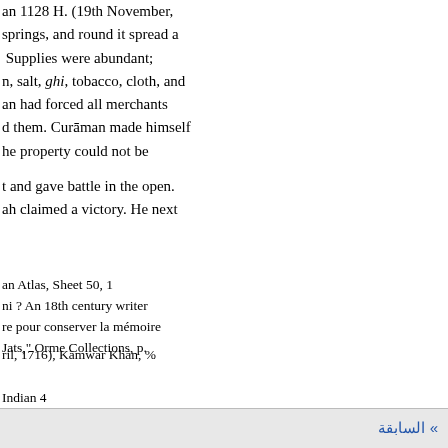an 1128 H. (19th November, springs, and round it spread a Supplies were abundant; n, salt, ghi, tobacco, cloth, and an had forced all merchants d them. Curāman made himself he property could not be
t and gave battle in the open. ah claimed a victory. He next
an Atlas, Sheet 50, 1 ni ? An 18th century writer re pour conserver la mémoire Jats," Orme Collections, p.
ril, 1716), Kāmwar Khān, %
Indian 4
» السابقة